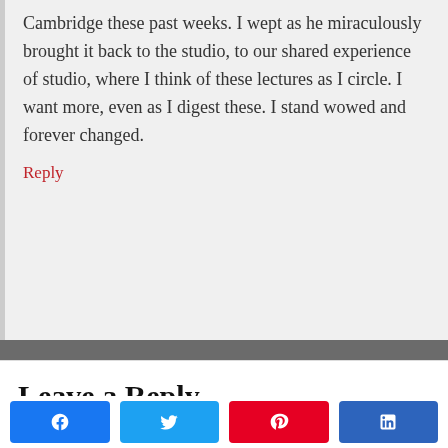Cambridge these past weeks. I wept as he miraculously brought it back to the studio, to our shared experience of studio, where I think of these lectures as I circle. I want more, even as I digest these. I stand wowed and forever changed.
Reply
Leave a Reply
Your email address will not be published. Required
[Figure (infographic): Social share bar with four buttons: Facebook (blue, f icon), Twitter (light blue, bird icon), Pinterest (red, P icon), LinkedIn (dark blue, in icon)]